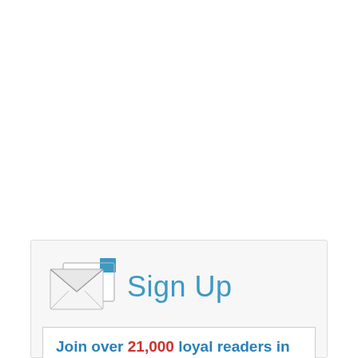[Figure (illustration): Email newsletter sign-up widget showing two overlapping white envelope icons and 'Sign Up' text in blue, above a white inner box with text 'Join over 21,000 loyal readers in' in blue with '21,000' in red]
Join over 21,000 loyal readers in